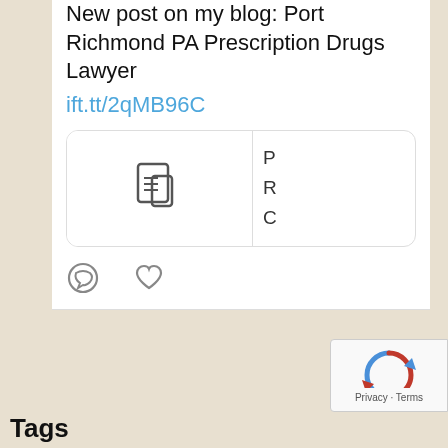New post on my blog: Port Richmond PA Prescription Drugs Lawyer
ift.tt/2qMB96C
[Figure (screenshot): Preview card with document icon and partial text showing P F C]
[Figure (illustration): Comment and like icons (speech bubble and heart)]
P... · Nov 15, 2(
New post on my blog: Glenside PA Drug Trafficking: You Need Support
Tags